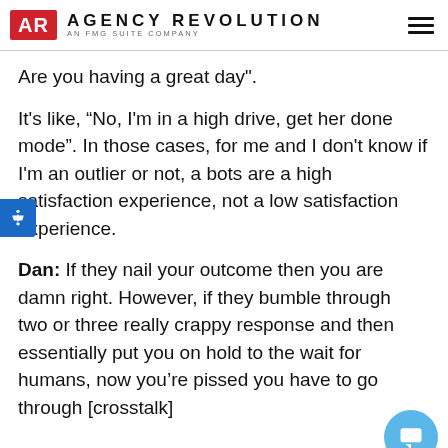AGENCY REVOLUTION — AN FMG SUITE COMPANY
Are you having a great day".
It's like, “No, I'm in a high drive, get her done mode". In those cases, for me and I don't know if I'm an outlier or not, a bots are a high satisfaction experience, not a low satisfaction experience.
Dan: If they nail your outcome then you are damn right. However, if they bumble through two or three really crappy response and then essentially put you on hold to the wait for humans, now you're pissed you have to go through [crosstalk]